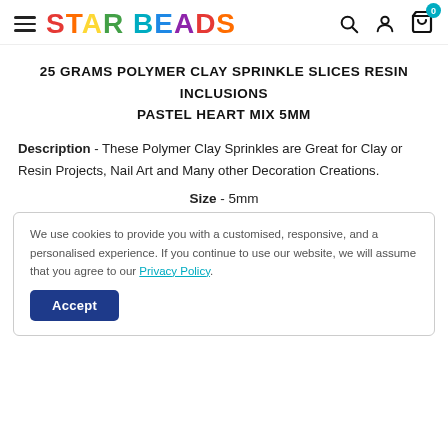STAR BEADS — navigation header with hamburger menu, search, account, and cart icons
25 GRAMS POLYMER CLAY SPRINKLE SLICES RESIN INCLUSIONS
PASTEL HEART MIX 5MM
Description - These Polymer Clay Sprinkles are Great for Clay or Resin Projects, Nail Art and Many other Decoration Creations.
Size - 5mm
We use cookies to provide you with a customised, responsive, and a personalised experience. If you continue to use our website, we will assume that you agree to our Privacy Policy.
Accept